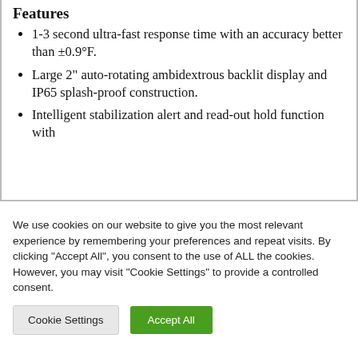Features
1-3 second ultra-fast response time with an accuracy better than ±0.9°F.
Large 2" auto-rotating ambidextrous backlit display and IP65 splash-proof construction.
Intelligent stabilization alert and read-out hold function with
We use cookies on our website to give you the most relevant experience by remembering your preferences and repeat visits. By clicking "Accept All", you consent to the use of ALL the cookies. However, you may visit "Cookie Settings" to provide a controlled consent.
Cookie Settings | Accept All